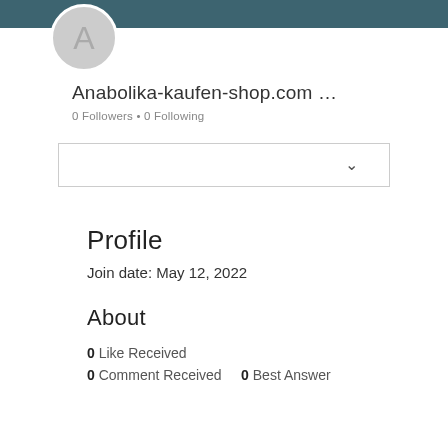[Figure (illustration): User profile avatar circle with letter A on dark teal header background]
Anabolika-kaufen-shop.com ...
0 Followers • 0 Following
[Figure (screenshot): Dropdown select box with chevron arrow]
Profile
Join date: May 12, 2022
About
0 Like Received
0 Comment Received    0 Best Answer